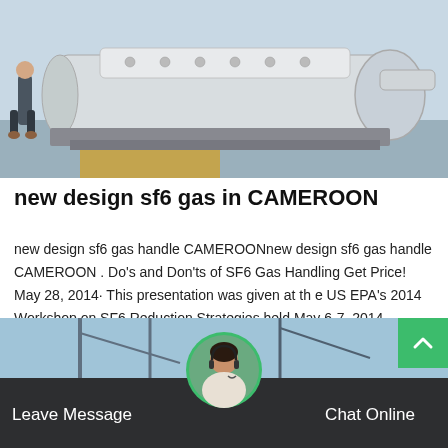[Figure (photo): Industrial machinery/generator photo - large white cylindrical turbine or engine on a factory floor with a person standing beside it]
new design sf6 gas in CAMEROON
new design sf6 gas handle CAMEROONnew design sf6 gas handle CAMEROON . Do's and Don'ts of SF6 Gas Handling Get Price! May 28, 2014· This presentation was given at th e US EPA's 2014 Workshop on SF6 Reduction Strategies held May 6-7, 2014....
Get Price
[Figure (photo): Industrial scene with cranes and equipment in background; headset customer service representative avatar in circular frame in foreground]
Leave Message
Chat Online